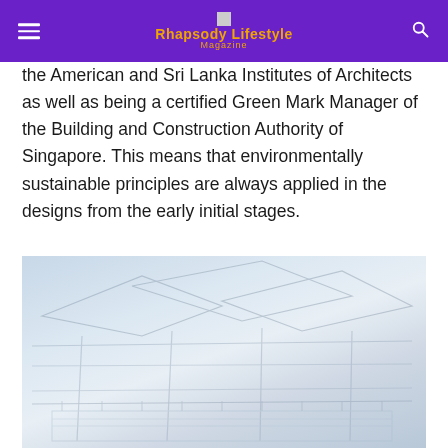Rhapsody Lifestyle Magazine
the American and Sri Lanka Institutes of Architects as well as being a certified Green Mark Manager of the Building and Construction Authority of Singapore. This means that environmentally sustainable principles are always applied in the designs from the early initial stages.
[Figure (photo): Architectural or building exterior photograph, faded/light toned, showing structural elements]